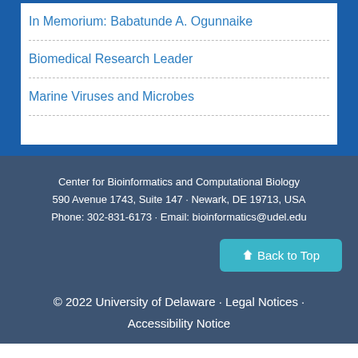In Memorium: Babatunde A. Ogunnaike
Biomedical Research Leader
Marine Viruses and Microbes
Center for Bioinformatics and Computational Biology
590 Avenue 1743, Suite 147 · Newark, DE 19713, USA
Phone: 302-831-6173 · Email: bioinformatics@udel.edu
Back to Top
© 2022 University of Delaware · Legal Notices · Accessibility Notice